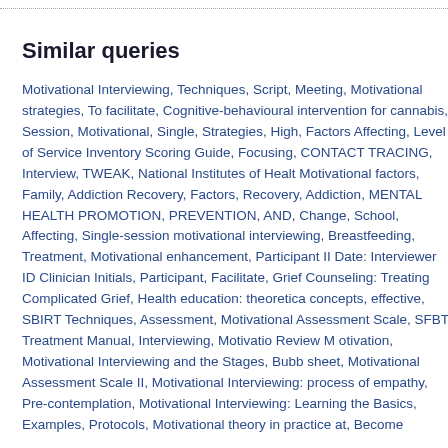Similar queries
Motivational Interviewing, Techniques, Script, Meeting, Motivational strategies, To facilitate, Cognitive-behavioural intervention for cannabis, Session, Motivational, Single, Strategies, High, Factors Affecting, Level of Service Inventory Scoring Guide, Focusing, CONTACT TRACING, Interview, TWEAK, National Institutes of Health, Motivational factors, Family, Addiction Recovery, Factors, Recovery, Addiction, MENTAL HEALTH PROMOTION, PREVENTION, AND, Change, School, Affecting, Single-session motivational interviewing, Breastfeeding, Treatment, Motivational enhancement, Participant ID Date: Interviewer ID Clinician Initials, Participant, Facilitate, Grief Counseling: Treating Complicated Grief, Health education: theoretical concepts, effective, SBIRT Techniques, Assessment, Motivational Assessment Scale, SFBT Treatment Manual, Interviewing, Motivational Review M otivation, Motivational Interviewing and the Stages, Bubble sheet, Motivational Assessment Scale II, Motivational Interviewing: A process of empathy, Pre-contemplation, Motivational Interviewing: Learning the Basics, Examples, Protocols, Motivational theory in practice at, Become